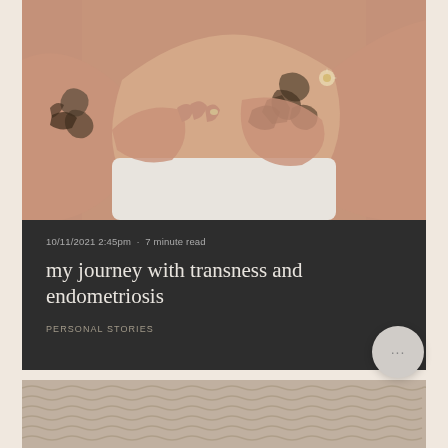[Figure (photo): Person with crossed arms over torso with botanical and animal tattoos on forearms, wearing white/cream waistband, warm beige background]
10/11/2021 2:45pm  ·  7 minute read
my journey with transness and endometriosis
PERSONAL STORIES
[Figure (photo): Partial view of knitted/woven textile in beige tones, bottom of page]